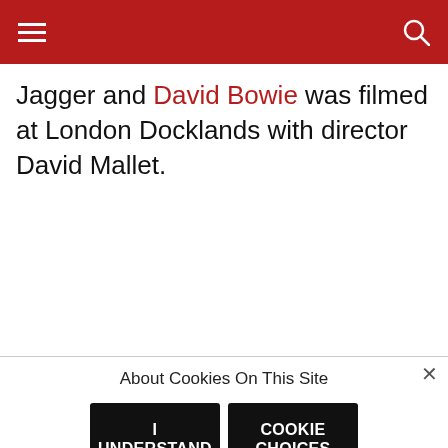Jagger and David Bowie was filmed at London Docklands with director David Mallet.
About Cookies On This Site
I UNDERSTAND
COOKIE CHOICES